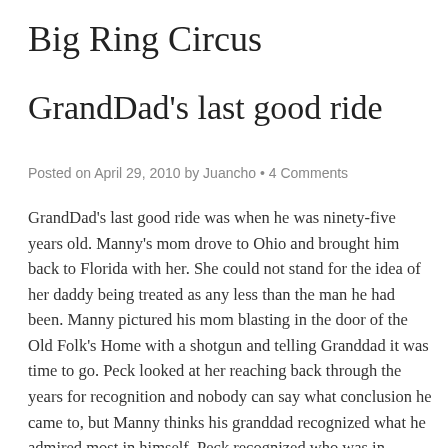Big Ring Circus
GrandDad's last good ride
Posted on April 29, 2010 by Juancho • 4 Comments
GrandDad's last good ride was when he was ninety-five years old. Manny's mom drove to Ohio and brought him back to Florida with her. She could not stand for the idea of her daddy being treated as any less than the man he had been. Manny pictured his mom blasting in the door of the Old Folk's Home with a shotgun and telling Granddad it was time to go. Peck looked at her reaching back through the years for recognition and nobody can say what conclusion he came to, but Manny thinks his granddad recognized what he admired most in himself. Peck recognized who was in charge.
Three days and two nights back to Florida Manny's mom drove